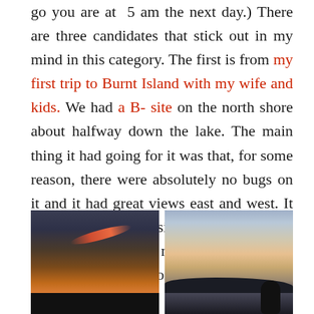go you are at  5 am the next day.) There are three candidates that stick out in my mind in this category. The first is from my first trip to Burnt Island with my wife and kids. We had a B- site on the north shore about halfway down the lake. The main thing it had going for it was that, for some reason, there were absolutely no bugs on it and it had great views east and west. It was a great spot to sit and watch the sun go down and both nights that we were there it didn't disappoint.
[Figure (photo): Left photo: dramatic sunset sky with orange and pink streak/arc of light against dark cloudy sky, dark tree silhouette at bottom]
[Figure (photo): Right photo: calm lake at sunset with pink and peach sky reflecting on water, dark island silhouette in background, person silhouette in right foreground]